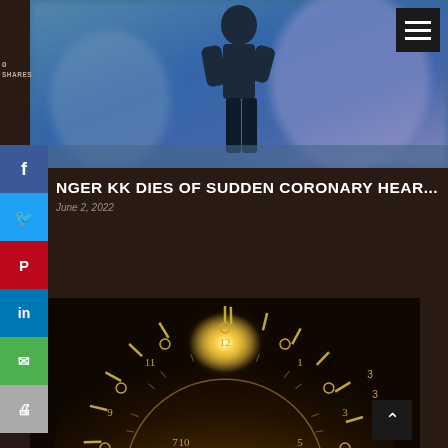[Figure (photo): Person standing on stage, blurred background with blue and purple tones]
NGER KK DIES OF SUDDEN CORONARY HEAR...
June 2, 2022
[Figure (photo): Close-up of a golden clock face with glowing light at center, showing numbers and tick marks]